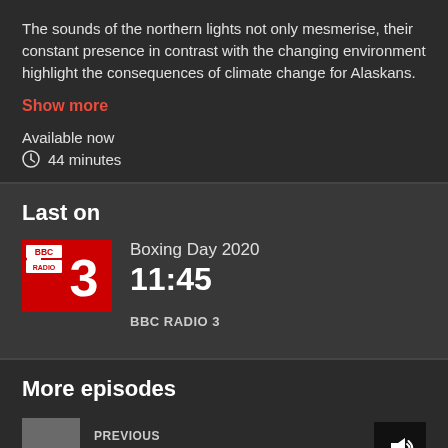The sounds of the northern lights not only mesmerise, their constant presence in contrast with the changing environment highlight the consequences of climate change for Alaskans.
Show more
Available now
44 minutes
Last on
[Figure (logo): BBC Radio 3 logo — red square with white BBC RADIO text and large white number 3]
Boxing Day 2020
11:45
BBC RADIO 3
More episodes
PREVIOUS
To Bear Witness